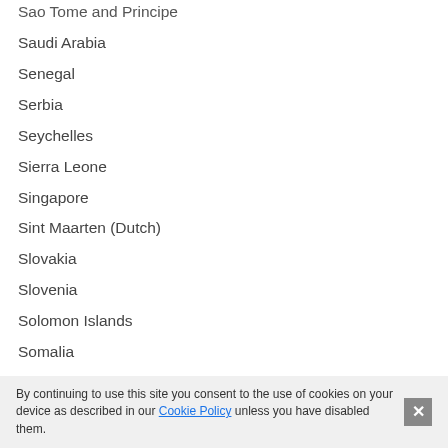Sao Tome and Principe
Saudi Arabia
Senegal
Serbia
Seychelles
Sierra Leone
Singapore
Sint Maarten (Dutch)
Slovakia
Slovenia
Solomon Islands
Somalia
South Africa
South Korea
South Sudan
Spain
Sri Lanka
By continuing to use this site you consent to the use of cookies on your device as described in our Cookie Policy unless you have disabled them.